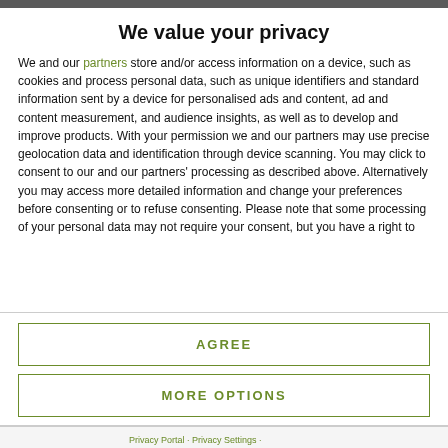We value your privacy
We and our partners store and/or access information on a device, such as cookies and process personal data, such as unique identifiers and standard information sent by a device for personalised ads and content, ad and content measurement, and audience insights, as well as to develop and improve products. With your permission we and our partners may use precise geolocation data and identification through device scanning. You may click to consent to our and our partners' processing as described above. Alternatively you may access more detailed information and change your preferences before consenting or to refuse consenting. Please note that some processing of your personal data may not require your consent, but you have a right to
AGREE
MORE OPTIONS
Privacy Portal · Privacy Settings · ...